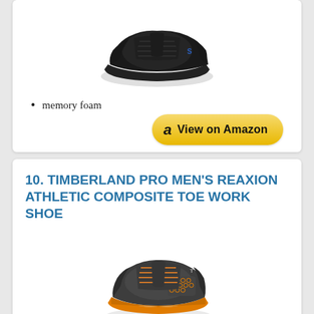[Figure (photo): Black athletic sneaker/work shoe shown against white background]
memory foam
[Figure (other): View on Amazon button with Amazon logo]
10. TIMBERLAND PRO MEN'S REAXION ATHLETIC COMPOSITE TOE WORK SHOE
[Figure (photo): Dark gray and orange Timberland Pro athletic composite toe work shoe shown against white background]
Abrasion-resistant ripstop nylon for